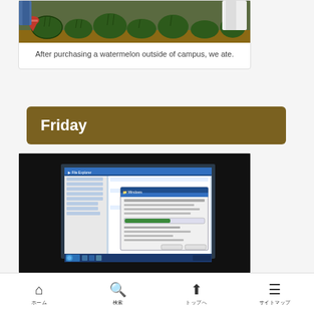[Figure (photo): Photo of watermelons on the ground outside campus with people's legs visible]
After purchasing a watermelon outside of campus, we ate.
Friday
[Figure (photo): Photo of a computer screen showing a Windows file explorer and a dialog box with a green progress bar]
ホーム　検索　トップへ　サイトマップ